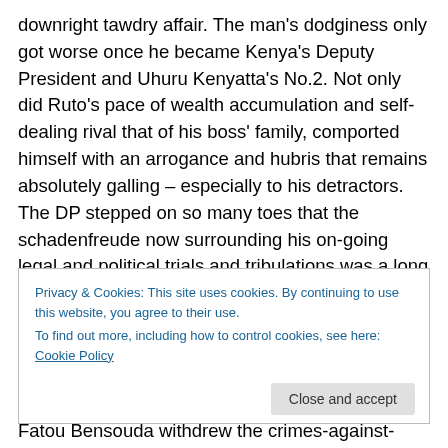downright tawdry affair. The man's dodginess only got worse once he became Kenya's Deputy President and Uhuru Kenyatta's No.2. Not only did Ruto's pace of wealth accumulation and self-dealing rival that of his boss' family, comported himself with an arrogance and hubris that remains absolutely galling – especially to his detractors. The DP stepped on so many toes that the schadenfreude now surrounding his on-going legal and political trials and tribulations was a long time coming.
Privacy & Cookies: This site uses cookies. By continuing to use this website, you agree to their use. To find out more, including how to control cookies, see here: Cookie Policy
Fatou Bensouda withdrew the crimes-against-humanity